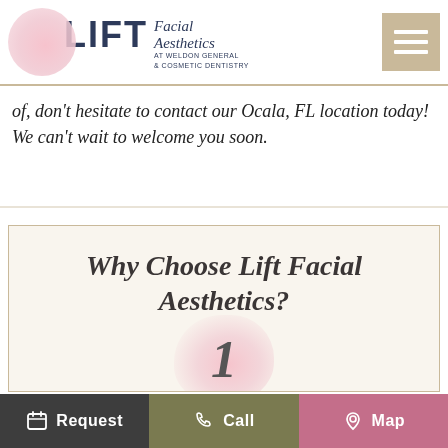[Figure (logo): LIFT Facial Aesthetics logo with pink circle and navy text, at Weldon General & Cosmetic Dentistry]
of, don't hesitate to contact our Ocala, FL location today! We can't wait to welcome you soon.
Why Choose Lift Facial Aesthetics?
[Figure (illustration): Pink floral blob with italic number 1 centered on it]
Request   Call   Map